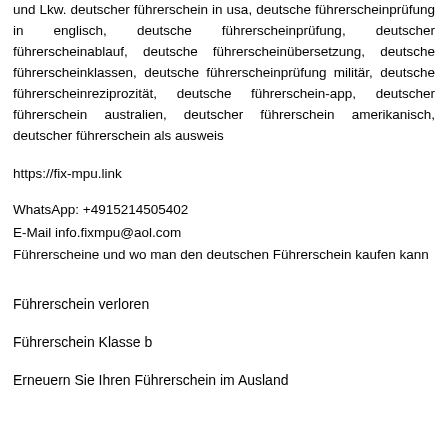und Lkw. deutscher führerschein in usa, deutsche führerscheinprüfung in englisch, deutsche führerscheinprüfung, deutscher führerscheinablauf, deutsche führerscheinübersetzung, deutsche führerscheinklassen, deutsche führerscheinprüfung militär, deutsche führerscheinreziprozität, deutsche führerschein-app, deutscher führerschein australien, deutscher führerschein amerikanisch, deutscher führerschein als ausweis
https://fix-mpu.link
WhatsApp: +4915214505402
E-Mail info.fixmpu@aol.com
Führerscheine und wo man den deutschen Führerschein kaufen kann
Führerschein verloren
Führerschein Klasse b
Erneuern Sie Ihren Führerschein im Ausland